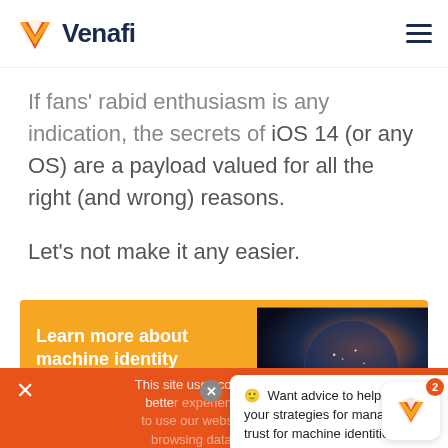Venafi
If fans' rabid enthusiasm is any indication, the secrets of iOS 14 (or any OS) are a payload valued for all the right (and wrong) reasons.
Let's not make it any easier.
[Figure (infographic): Orange banner ad for Venafi with text 'Learn more about machine identity protection' and an 'Explore Now' button over a globe/network image.]
This site uses cookies to offer you a better experience. Find out more.
🙂 Want advice to help refine your strategies for managing zero trust for machine identities?